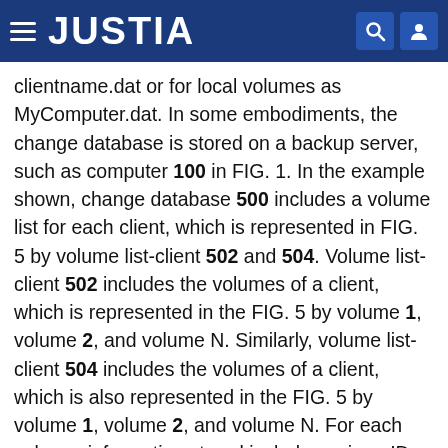JUSTIA
clientname.dat or for local volumes as MyComputer.dat. In some embodiments, the change database is stored on a backup server, such as computer 100 in FIG. 1. In the example shown, change database 500 includes a volume list for each client, which is represented in FIG. 5 by volume list-client 502 and 504. Volume list-client 502 includes the volumes of a client, which is represented in the FIG. 5 by volume 1, volume 2, and volume N. Similarly, volume list-client 504 includes the volumes of a client, which is also represented in the FIG. 5 by volume 1, volume 2, and volume N. For each volume, information stored includes unique ID 506, last change ID 508, and change tree 510. Unique ID 506 allows identification of the volume; often volumes are named something like “C:” and this does not allow for precise identification of a volume associated with a given client. Last change ID 508 is the last value of the change ID for